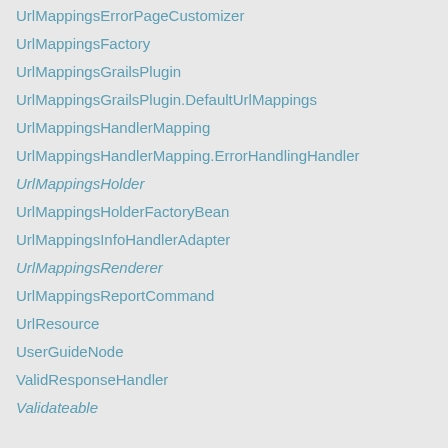UrlMappingsErrorPageCustomizer
UrlMappingsFactory
UrlMappingsGrailsPlugin
UrlMappingsGrailsPlugin.DefaultUrlMappings
UrlMappingsHandlerMapping
UrlMappingsHandlerMapping.ErrorHandlingHandler
UrlMappingsHolder
UrlMappingsHolderFactoryBean
UrlMappingsInfoHandlerAdapter
UrlMappingsRenderer
UrlMappingsReportCommand
UrlResource
UserGuideNode
ValidResponseHandler
Validateable